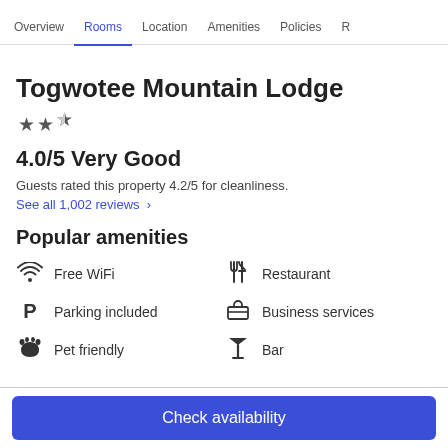Overview | Rooms | Location | Amenities | Policies | R
Togwotee Mountain Lodge
★★☆
4.0/5 Very Good
Guests rated this property 4.2/5 for cleanliness.
See all 1,002 reviews  ›
Popular amenities
Free WiFi
Restaurant
Parking included
Business services
Pet friendly
Bar
Check availability